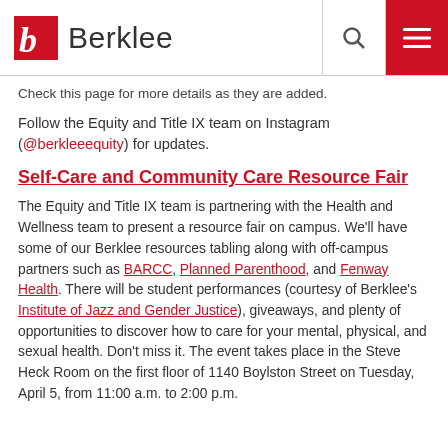Berklee
Check this page for more details as they are added.
Follow the Equity and Title IX team on Instagram (@berkleeequity) for updates.
Self-Care and Community Care Resource Fair
The Equity and Title IX team is partnering with the Health and Wellness team to present a resource fair on campus. We'll have some of our Berklee resources tabling along with off-campus partners such as BARCC, Planned Parenthood, and Fenway Health. There will be student performances (courtesy of Berklee's Institute of Jazz and Gender Justice), giveaways, and plenty of opportunities to discover how to care for your mental, physical, and sexual health. Don't miss it. The event takes place in the Steve Heck Room on the first floor of 1140 Boylston Street on Tuesday, April 5, from 11:00 a.m. to 2:00 p.m.